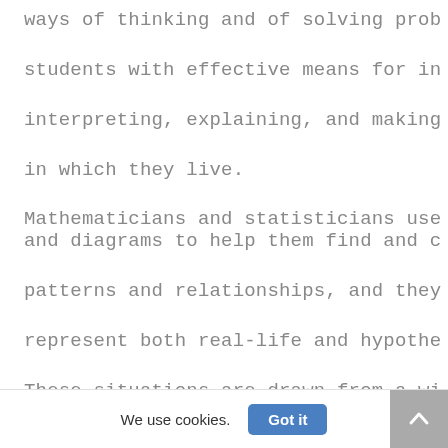ways of thinking and of solving prob students with effective means for in interpreting, explaining, and making in which they live.

Mathematicians and statisticians use and diagrams to help them find and c patterns and relationships, and they represent both real-life and hypothe These situations are drawn from a wi
We use cookies.  Got it